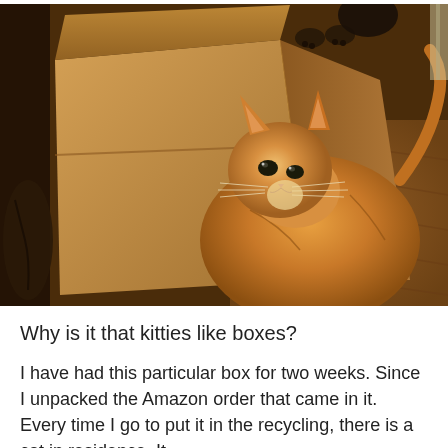[Figure (photo): An orange tabby cat sitting next to a large cardboard Amazon shipping box on a wooden floor. The cat appears to be looking up at the camera. Another cat's paws are visible at the top of the box. The scene is warmly lit with an amber tone.]
Why is it that kitties like boxes?
I have had this particular box for two weeks. Since I unpacked the Amazon order that came in it. Every time I go to put it in the recycling, there is a cat in residence. It